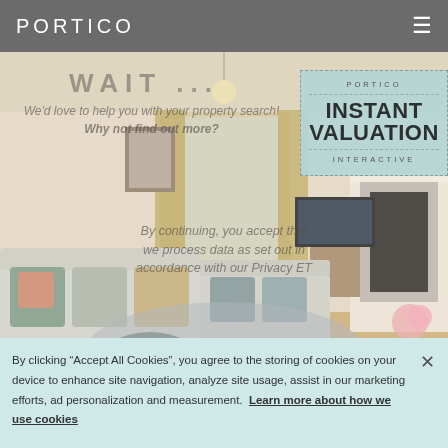PORTICO
[Figure (photo): Interior living room photo showing sofas with cushions, a fireplace, TV unit, and window with curtains. Room has warm neutral tones with a grey rug on wooden flooring.]
WAIT ...
We'd love to help you with your property search! Why not find out more?
[Figure (infographic): PORTICO INSTANT VALUATION INTERACTIVE promotional box with dashed border on light teal background]
By continuing, you accept that we process data as set out in accordance with our Privacy ET
By clicking "Accept All Cookies", you agree to the storing of cookies on your device to enhance site navigation, analyze site usage, assist in our marketing efforts, ad personalization and measurement.  Learn more about how we use cookies